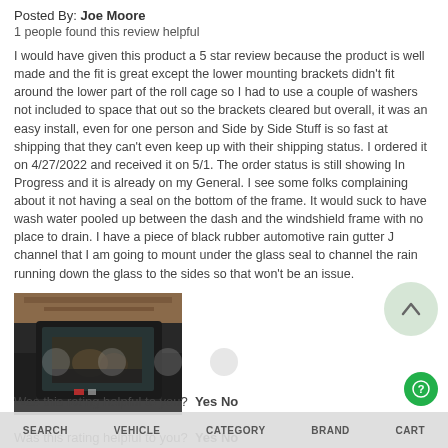Posted By: Joe Moore
1 people found this review helpful
I would have given this product a 5 star review because the product is well made and the fit is great except the lower mounting brackets didn't fit around the lower part of the roll cage so I had to use a couple of washers not included to space that out so the brackets cleared but overall, it was an easy install, even for one person and Side by Side Stuff is so fast at shipping that they can't even keep up with their shipping status. I ordered it on 4/27/2022 and received it on 5/1. The order status is still showing In Progress and it is already on my General. I see some folks complaining about it not having a seal on the bottom of the frame. It would suck to have wash water pooled up between the dash and the windshield frame with no place to drain. I have a piece of black rubber automotive rain gutter J channel that I am going to mount under the glass seal to channel the rain running down the glass to the sides so that won't be an issue.
[Figure (photo): Photo of a UTV/side-by-side vehicle viewed from the front in a garage/shop setting, showing the windshield frame installed.]
Was this rating helpful to you?  Yes No
Windshield , August 4, 2021
Posted By: Olaf Domhoff - verified customer
Looks like a good product, haven't had the time to go out to see how it holds up. It's going to be nice to have the wiper blade, which could have been about two to three inches longer overall.
Was this rating helpful to you?  Yes No
SEARCH  VEHICLE  CATEGORY  BRAND  CART